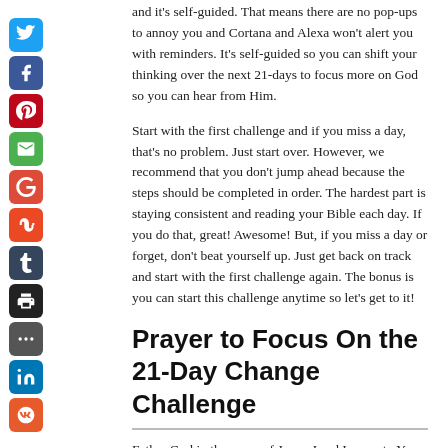and it's self-guided. That means there are no pop-ups to annoy you and Cortana and Alexa won't alert you with reminders. It's self-guided so you can shift your thinking over the next 21-days to focus more on God so you can hear from Him.
Start with the first challenge and if you miss a day, that's no problem. Just start over. However, we recommend that you don't jump ahead because the steps should be completed in order. The hardest part is staying consistent and reading your Bible each day. If you do that, great! Awesome! But, if you miss a day or forget, don't beat yourself up. Just get back on track and start with the first challenge again. The bonus is you can start this challenge anytime so let's get to it!
Prayer to Focus On the 21-Day Change Challenge
Father God in the name of Jesus, Lord I come to You and give You all the glory, honor and praise. I ask for Your help with this Change Challenge.